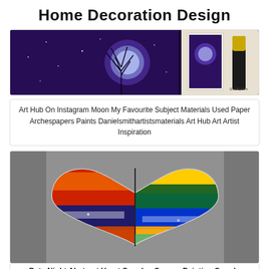Home Decoration Design
[Figure (photo): A moon painting with purple/blue night sky, tree silhouette, and art supplies visible beside the painting. Instagram watermark @artbyniva visible.]
Art Hub On Instagram Moon My Favourite Subject Materials Used Paper Archespapers Paints Danielsmithartistsmaterials Art Hub Art Artist Inspiration
[Figure (photo): A colorful abstract heart-shaped painting split into two canvases. Left side has red, orange, dark blue. Right side has yellow, green, teal, blue stripes. Gray background.]
Date Night Abstract Heart Couples Canvas Painting Couple